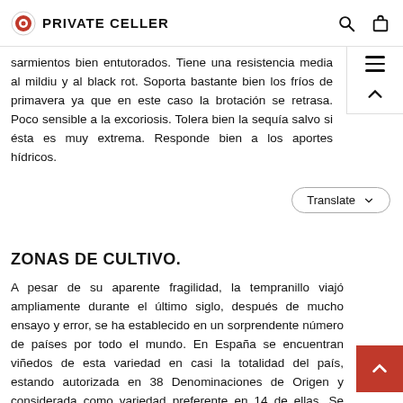PRIVATE CELLER
sarmientos bien entutorados. Tiene una resistencia media al mildiu y al black rot. Soporta bastante bien los fríos de primavera ya que en este caso la brotación se retrasa. Poco sensible a la excoriosis. Tolera bien la sequía salvo si ésta es muy extrema. Responde bien a los aportes hídricos.
ZONAS DE CULTIVO.
A pesar de su aparente fragilidad, la tempranillo viajó ampliamente durante el último siglo, después de mucho ensayo y error, se ha establecido en un sorprendente número de países por todo el mundo. En España se encuentran viñedos de esta variedad en casi la totalidad del país, estando autorizada en 38 Denominaciones de Origen y considerada como variedad preferente en 14 de ellas. Se está adaptando muy bien en la